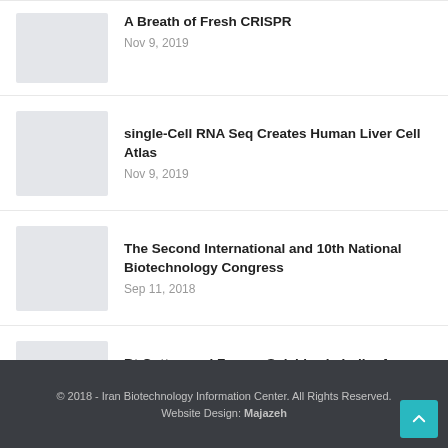A Breath of Fresh CRISPR
Nov 9, 2019
single-Cell RNA Seq Creates Human Liver Cell Atlas
Nov 9, 2019
The Second International and 10th National Biotechnology Congress
Sep 11, 2018
Bt Cotton and Farmer Suicides in India: An Evidence-based Assessment
Jun 1, 2018
© 2018 - Iran Biotechnology Information Center. All Rights Reserved.
Website Design: Majazeh